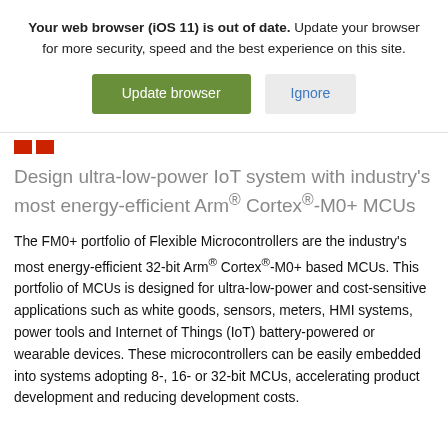Your web browser (iOS 11) is out of date. Update your browser for more security, speed and the best experience on this site.
[Figure (screenshot): Two buttons: a green 'Update browser' button and a grey 'Ignore' button]
[Figure (logo): Two small red square icons]
Design ultra-low-power IoT system with industry's most energy-efficient Arm® Cortex®-M0+ MCUs
The FM0+ portfolio of Flexible Microcontrollers are the industry's most energy-efficient 32-bit Arm® Cortex®-M0+ based MCUs. This portfolio of MCUs is designed for ultra-low-power and cost-sensitive applications such as white goods, sensors, meters, HMI systems, power tools and Internet of Things (IoT) battery-powered or wearable devices. These microcontrollers can be easily embedded into systems adopting 8-, 16- or 32-bit MCUs, accelerating product development and reducing development costs.